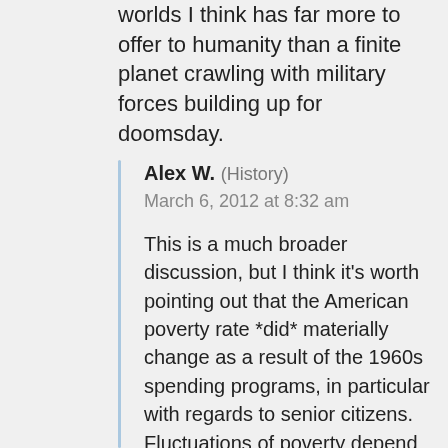worlds I think has far more to offer to humanity than a finite planet crawling with military forces building up for doomsday.
Alex W. (History)
March 6, 2012 at 8:32 am

This is a much broader discussion, but I think it's worth pointing out that the American poverty rate *did* materially change as a result of the 1960s spending programs, in particular with regards to senior citizens. Fluctuations of poverty depend on quite a lot of factors, but claiming that there's no way to affect it through applied federal spending is just not borne out by the data. The poverty rate was around 22% at the beginning of the Kennedy administration; by the time of Apollo 11